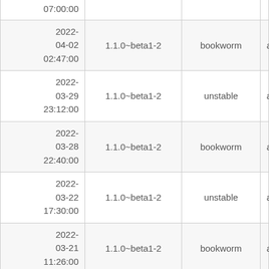| Date |  | Version | Distribution | Arch |
| --- | --- | --- | --- | --- |
| 07:00:00 (partial top) |  |  |  |  |
| 2022-04-02
02:47:00 |  | 1.1.0~beta1-2 | bookworm | am |
| 2022-03-29
23:12:00 |  | 1.1.0~beta1-2 | unstable | am |
| 2022-03-28
22:40:00 |  | 1.1.0~beta1-2 | bookworm | am |
| 2022-03-22
17:30:00 |  | 1.1.0~beta1-2 | unstable | am |
| 2022-03-21
11:26:00 |  | 1.1.0~beta1-2 | bookworm | am |
| 2022-03-14
12:12:00 |  | 1.1.0~beta1-2 | unstable | am |
| 2022-03-05 (partial bottom) |  | 1.1.0~beta1-2 | bookworm | am |